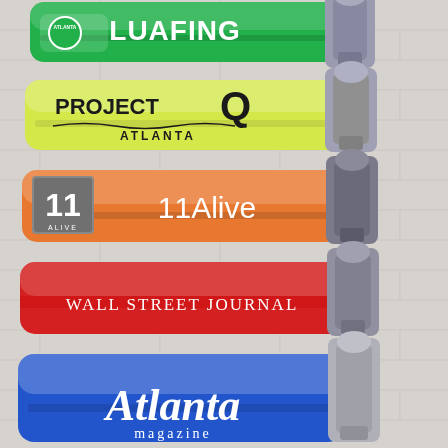[Figure (photo): Five branded cigarette lighters arranged vertically against a white brick wall background. From top to bottom: 1) Green lighter with 'Atlanta Luafing' logo in white text, 2) Yellow-green lighter with 'Project Q Atlanta' logo in black text, 3) Orange lighter with '11 Alive' logo in white text with the 11 Alive square icon, 4) Red lighter with 'Wall Street Journal' text in white serif font, 5) Blue lighter with 'Atlanta magazine' logo in white text. Each lighter has a silver/metallic flint mechanism on the right side.]